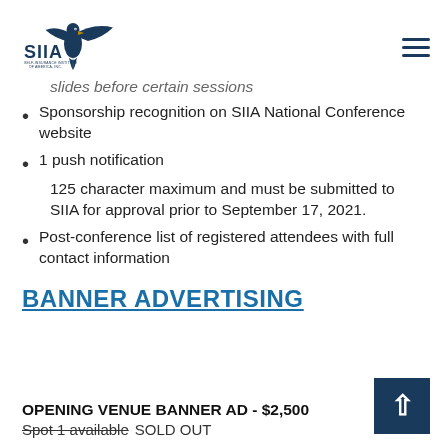[Figure (logo): SIIA Self-Insurance Institute of America, Inc. logo with eagle graphic]
slides before certain sessions
Sponsorship recognition on SIIA National Conference website
1 push notification
125 character maximum and must be submitted to SIIA for approval prior to September 17, 2021.
Post-conference list of registered attendees with full contact information
BANNER ADVERTISING
OPENING VENUE BANNER AD - $2,500
Spot 1 available SOLD OUT